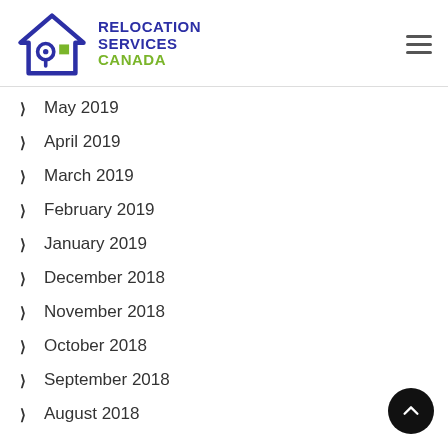[Figure (logo): Relocation Services Canada logo with house icon in blue and green, and text 'RELOCATION SERVICES CANADA']
May 2019
April 2019
March 2019
February 2019
January 2019
December 2018
November 2018
October 2018
September 2018
August 2018